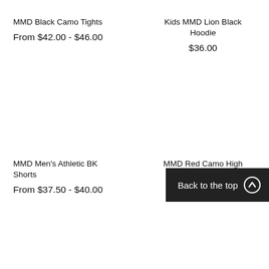MMD Black Camo Tights
From $42.00 - $46.00
Kids MMD Lion Black Hoodie
$36.00
MMD Men's Athletic BK Shorts
From $37.50 - $40.00
MMD Red Camo High Waist Leggings
$42.00
Back to the top